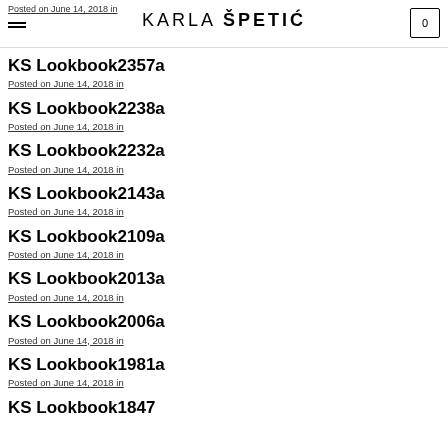Posted on June 14, 2018 in | KARLA ŠPETIĆ | [cart 0]
KS Lookbook2357a
Posted on June 14, 2018 in
KS Lookbook2238a
Posted on June 14, 2018 in
KS Lookbook2232a
Posted on June 14, 2018 in
KS Lookbook2143a
Posted on June 14, 2018 in
KS Lookbook2109a
Posted on June 14, 2018 in
KS Lookbook2013a
Posted on June 14, 2018 in
KS Lookbook2006a
Posted on June 14, 2018 in
KS Lookbook1981a
Posted on June 14, 2018 in
KS Lookbook1847